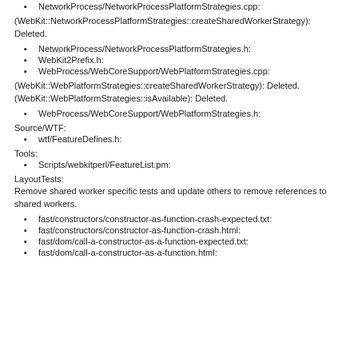NetworkProcess/NetworkProcessPlatformStrategies.cpp:
(WebKit::NetworkProcessPlatformStrategies::createSharedWorkerStrategy): Deleted.
NetworkProcess/NetworkProcessPlatformStrategies.h:
WebKit2Prefix.h:
WebProcess/WebCoreSupport/WebPlatformStrategies.cpp:
(WebKit::WebPlatformStrategies::createSharedWorkerStrategy): Deleted.
(WebKit::WebPlatformStrategies::isAvailable): Deleted.
WebProcess/WebCoreSupport/WebPlatformStrategies.h:
Source/WTF:
wtf/FeatureDefines.h:
Tools:
Scripts/webkitperl/FeatureList.pm:
LayoutTests:
Remove shared worker specific tests and update others to remove references to shared workers.
fast/constructors/constructor-as-function-crash-expected.txt:
fast/constructors/constructor-as-function-crash.html:
fast/dom/call-a-constructor-as-a-function-expected.txt:
fast/dom/call-a-constructor-as-a-function.html: